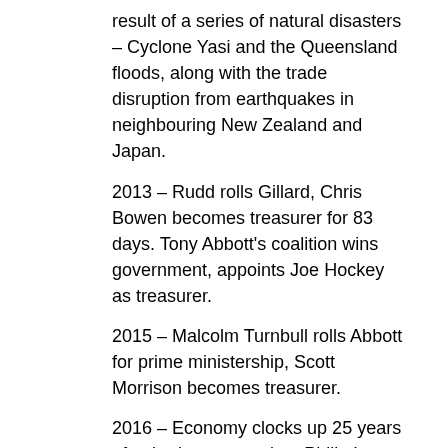result of a series of natural disasters – Cyclone Yasi and the Queensland floods, along with the trade disruption from earthquakes in neighbouring New Zealand and Japan.
2013 – Rudd rolls Gillard, Chris Bowen becomes treasurer for 83 days. Tony Abbott's coalition wins government, appoints Joe Hockey as treasurer.
2015 – Malcolm Turnbull rolls Abbott for prime ministership, Scott Morrison becomes treasurer.
2016 – Economy clocks up 25 years of unbroken expansion. Philip Lowe becomes RBA governor.
2017 – Economy pips the Netherlands for the longest run without a recession.
2018 – Scott Morrison wins Liberal party room ballot to become prime minister as Malcolm Turnbull steps aside after an attempt oust him. Josh Frydenberg becomes treasurer.
2020 – RBA cuts rates...